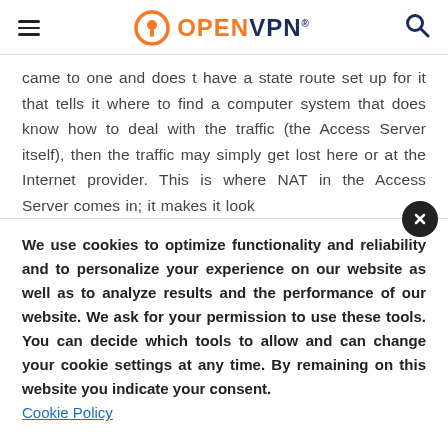OpenVPN
came to one and does t have a state route set up for it that tells it where to find a computer system that does know how to deal with the traffic (the Access Server itself), then the traffic may simply get lost here or at the Internet provider. This is where NAT in the Access Server comes in; it makes it look
We use cookies to optimize functionality and reliability and to personalize your experience on our website as well as to analyze results and the performance of our website. We ask for your permission to use these tools. You can decide which tools to allow and can change your cookie settings at any time. By remaining on this website you indicate your consent. Cookie Policy